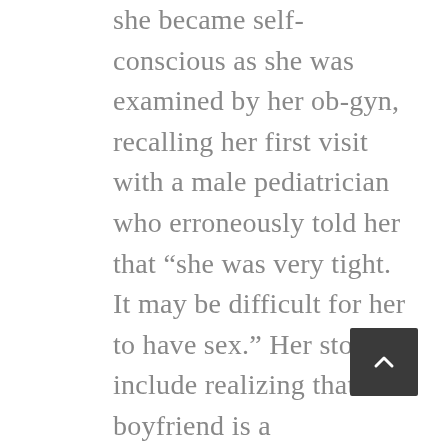she became self-conscious as she was examined by her ob-gyn, recalling her first visit with a male pediatrician who erroneously told her that “she was very tight. It may be difficult for her to have sex.” Her stories include realizing that a boyfriend is a “calculatingly dishonest” cheat, her own infidelity during her first marriage, getting lo a blinding New York City encounters late at night